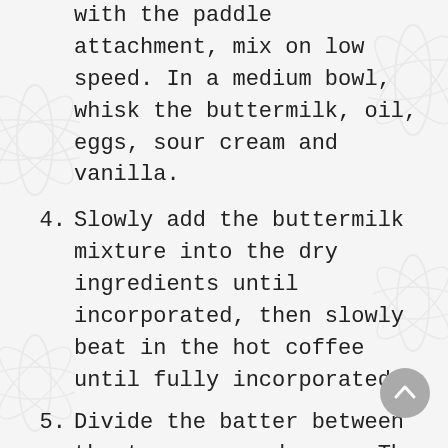(continued) with the paddle attachment, mix on low speed. In a medium bowl, whisk the buttermilk, oil, eggs, sour cream and vanilla.
4. Slowly add the buttermilk mixture into the dry ingredients until incorporated, then slowly beat in the hot coffee until fully incorporated.
5. Divide the batter between the two prepared pans. The batter will be thin but that is ok. Bake for about 35 minutes, or until a toothpick inserted in the center of each cake comes out clean. Let the cakes cool in the pans for about 30 minutes, then flip the cakes